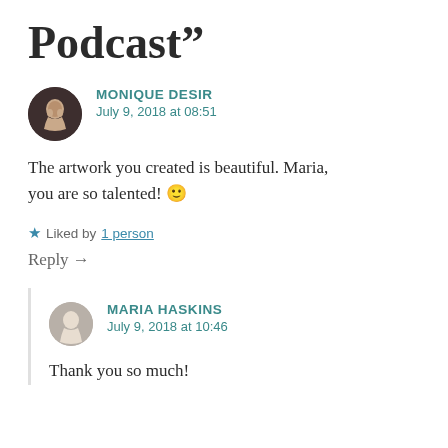Podcast”
MONIQUE DESIR
July 9, 2018 at 08:51
The artwork you created is beautiful. Maria, you are so talented! 🙂
★ Liked by 1person
Reply →
MARIA HASKINS
July 9, 2018 at 10:46
Thank you so much!